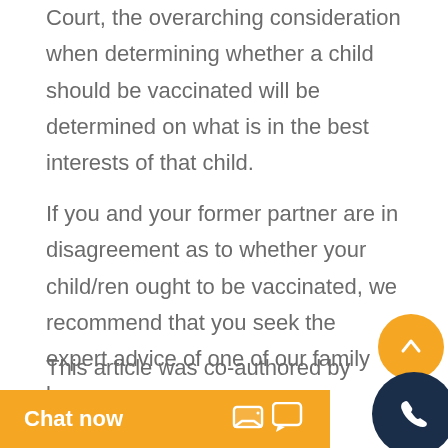Court, the overarching consideration when determining whether a child should be vaccinated will be determined on what is in the best interests of that child.
If you and your former partner are in disagreement as to whether your child/ren ought to be vaccinated, we recommend that you seek the expert advice of one of our family lawyers.
This article was co-authored by Law Cadet Tessa Noll.
[1] Public He...